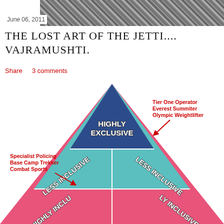[Figure (photo): Grayscale photo strip of outdoor/rocky terrain at the top of the page]
June 06, 2011
THE LOST ART OF THE JETTI.... VAJRAMUSHTI.
Share   3 comments
[Figure (infographic): Pyramid diagram with four colored tiers. Top tier (dark blue): HIGHLY EXCLUSIVE. Middle tiers (teal/cyan): LESS INCLUSIVE on both left and right sides. Bottom tier (pink/red): HIGHLY INCLUSIVE. Annotations in red: right side - Tier One Operator, Everest Summiter, Olympic Weightlifter; left side - Specialist Policing, Base Camp Trekker, Combat Sports. Red arrows point to middle tier.]